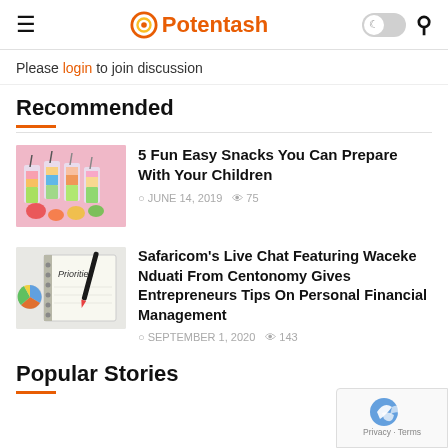Potentash
Please login to join discussion
Recommended
[Figure (photo): Colorful layered smoothies/drinks with straws and fruits on pink background]
5 Fun Easy Snacks You Can Prepare With Your Children
JUNE 14, 2019  75
[Figure (photo): Notebook with Priorities written on it, a pen and a pie chart]
Safaricom's Live Chat Featuring Waceke Nduati From Centonomy Gives Entrepreneurs Tips On Personal Financial Management
SEPTEMBER 1, 2020  143
Popular Stories